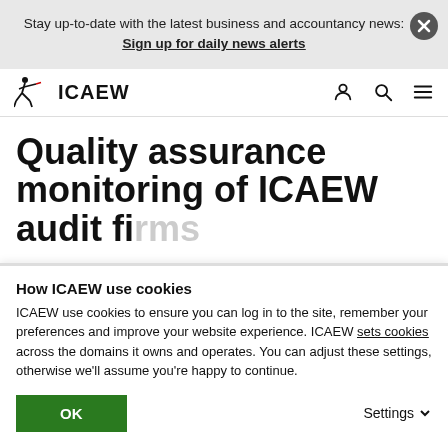Stay up-to-date with the latest business and accountancy news: Sign up for daily news alerts
[Figure (logo): ICAEW logo with fencer figure and red swoosh]
Quality assurance monitoring of ICAEW audit firms
How ICAEW use cookies
ICAEW use cookies to ensure you can log in to the site, remember your preferences and improve your website experience. ICAEW sets cookies across the domains it owns and operates. You can adjust these settings, otherwise we'll assume you're happy to continue.